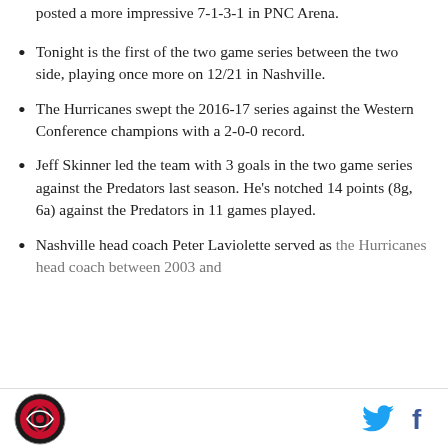posted a more impressive 7-1-3-1 in PNC Arena.
Tonight is the first of the two game series between the two side, playing once more on 12/21 in Nashville.
The Hurricanes swept the 2016-17 series against the Western Conference champions with a 2-0-0 record.
Jeff Skinner led the team with 3 goals in the two game series against the Predators last season. He's notched 14 points (8g, 6a) against the Predators in 11 games played.
Nashville head coach Peter Laviolette served as the Hurricanes head coach between 2003 and
Logo and social icons: Twitter, Facebook